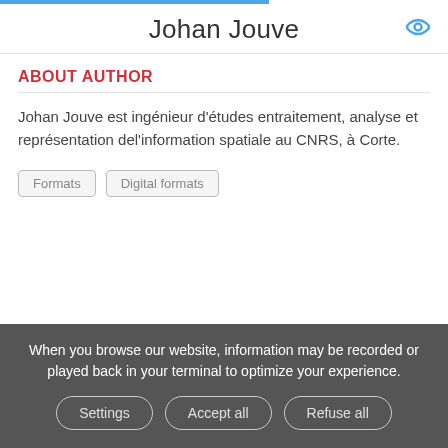Johan Jouve
ABOUT AUTHOR
Johan Jouve est ingénieur d'études entraitement, analyse et représentation del'information spatiale au CNRS, à Corte.
Formats
Digital formats
When you browse our website, information may be recorded or played back in your terminal to optimize your experience.